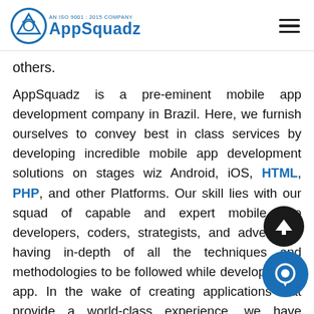AN ISO 9001 : 2015 COMPANY AppSquadz
others.
AppSquadz is a pre-eminent mobile app development company in Brazil. Here, we furnish ourselves to convey best in class services by developing incredible mobile app development solutions on stages wiz Android, iOS, HTML, PHP, and other Platforms. Our skill lies with our squad of capable and expert mobile app developers, coders, strategists, and advertisers having in-depth of all the techniques and methodologies to be followed while developing an app. In the wake of creating applications that provide a world-class experience, we have developed applications like Taxi for Sure, Uto, Chalklit, Lazada, and many more. Assisting